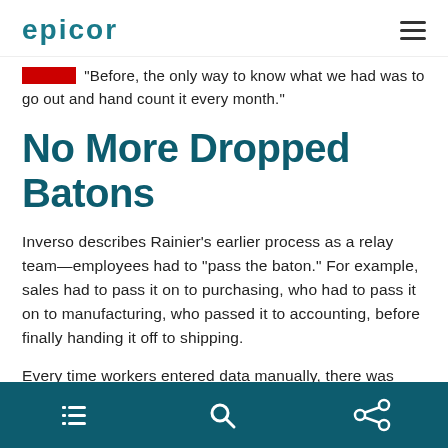Epicor
...inverso. "Before, the only way to know what we had was to go out and hand count it every month."
No More Dropped Batons
Inverso describes Rainier's earlier process as a relay team—employees had to "pass the baton." For example, sales had to pass it on to purchasing, who had to pass it on to manufacturing, who passed it to accounting, before finally handing it off to shipping.
Every time workers entered data manually, there was
Navigation bar with list, search, and share icons